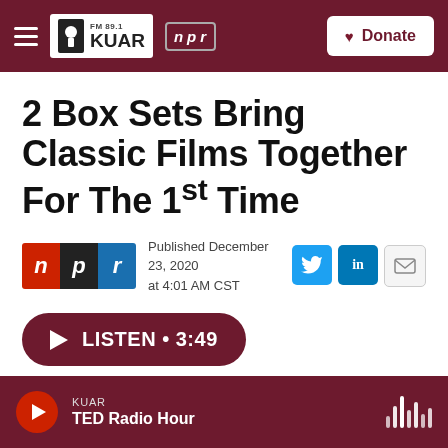FM 89.1 KUAR | NPR | Donate
2 Box Sets Bring Classic Films Together For The 1st Time
Published December 23, 2020 at 4:01 AM CST
LISTEN • 3:49
KUAR TED Radio Hour